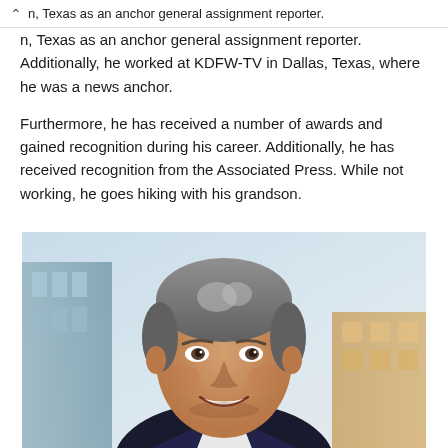n, Texas as an anchor general assignment reporter.
n, Texas as an anchor general assignment reporter. Additionally, he worked at KDFW-TV in Dallas, Texas, where he was a news anchor.

Furthermore, he has received a number of awards and gained recognition during his career. Additionally, he has received recognition from the Associated Press. While not working, he goes hiking with his grandson.
[Figure (photo): Professional headshot of a middle-aged man with gray-streaked hair, wearing a dark suit jacket and light shirt, smiling, with a blurred building/sky background.]